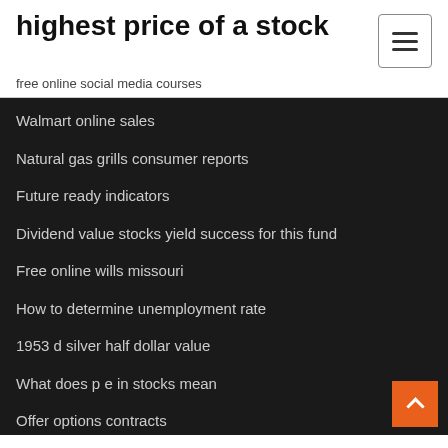highest price of a stock
free online social media courses
Walmart online sales
Natural gas grills consumer reports
Future ready indicators
Dividend value stocks yield success for this fund
Free online wills missouri
How to determine unemployment rate
1953 d silver half dollar value
What does p e in stocks mean
Offer options contracts
Where to buy digitex futures